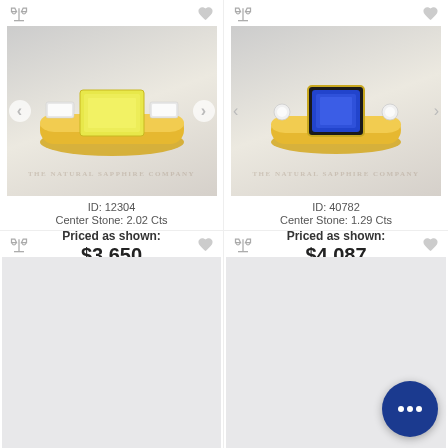[Figure (photo): Yellow sapphire emerald-cut ring in yellow gold with baguette side stones on light background with watermark 'THE NATURAL SAPPHIRE COMPANY']
ID: 12304
Center Stone: 2.02 Cts
Priced as shown:
$3,650
[Figure (photo): Blue sapphire emerald-cut ring in yellow gold with round diamond side stones on light background with watermark 'THE NATURAL SAPPHIRE COMPANY']
ID: 40782
Center Stone: 1.29 Cts
Priced as shown:
$4,087
[Figure (photo): Partially visible ring image at bottom left]
[Figure (photo): Partially visible ring image at bottom right with chat bubble overlay]